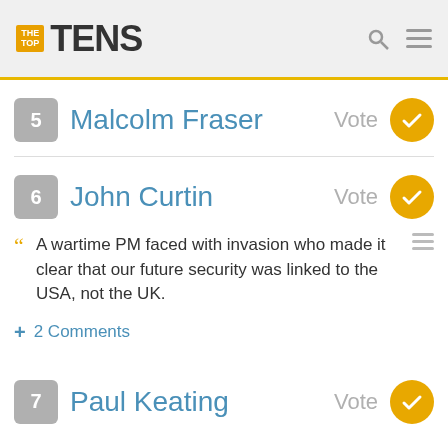THE TOP TENS
5 Malcolm Fraser Vote
6 John Curtin Vote
A wartime PM faced with invasion who made it clear that our future security was linked to the USA, not the UK.
2 Comments
7 Paul Keating Vote